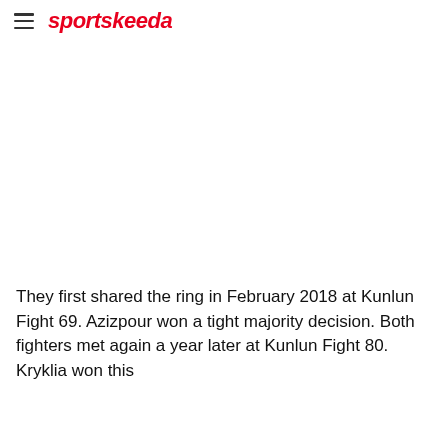sportskeeda
[Figure (photo): Large image placeholder area (white/blank) taking up approximately half the page vertically]
They first shared the ring in February 2018 at Kunlun Fight 69. Azizpour won a tight majority decision. Both fighters met again a year later at Kunlun Fight 80. Kryklia won this [continues below]